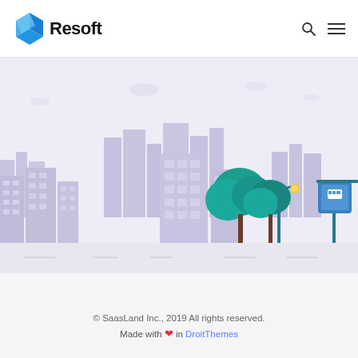[Figure (logo): Resoft logo with blue 3D cube icon and bold 'Resoft' text]
[Figure (illustration): City skyline illustration with purple/lavender buildings, green trees, a bus stop sign, a street lamp with yellow light, and a road with dashed lane markings]
© SaasLand Inc., 2019 All rights reserved.
Made with ❤ in DroitThemes